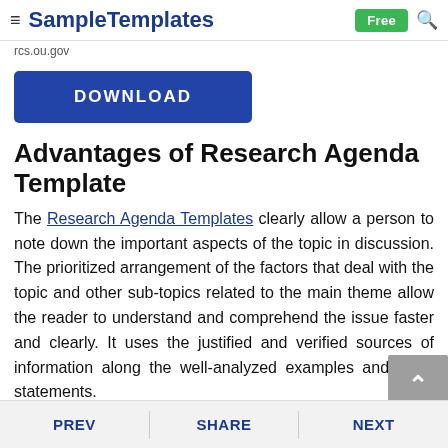≡ SampleTemplates  Free 🔍
rcs.ou.gov
[Figure (other): Blue DOWNLOAD button]
Advantages of Research Agenda Template
The Research Agenda Templates clearly allow a person to note down the important aspects of the topic in discussion. The prioritized arrangement of the factors that deal with the topic and other sub-topics related to the main theme allow the reader to understand and comprehend the issue faster and clearly. It uses the justified and verified sources of information along the well-analyzed examples and other statements.
PREV  SHARE  NEXT